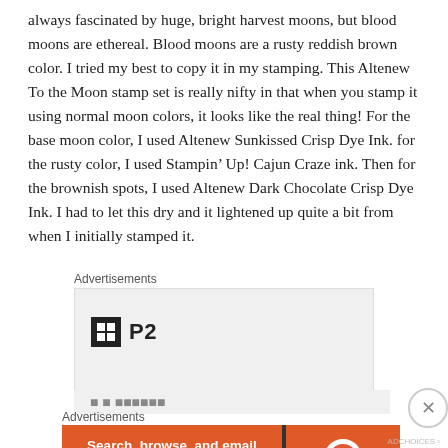always fascinated by huge, bright harvest moons, but blood moons are ethereal. Blood moons are a rusty reddish brown color. I tried my best to copy it in my stamping. This Altenew To the Moon stamp set is really nifty in that when you stamp it using normal moon colors, it looks like the real thing! For the base moon color, I used Altenew Sunkissed Crisp Dye Ink. for the rusty color, I used Stampin' Up! Cajun Craze ink. Then for the brownish spots, I used Altenew Dark Chocolate Crisp Dye Ink. I had to let this dry and it lightened up quite a bit from when I initially stamped it.
Advertisements
[Figure (logo): Advertisement box with P2 logo (black square icon with grid pattern and bold text 'P2') on light gray background]
[Figure (other): Partial advertisement element, cut off]
Advertisements
[Figure (infographic): DuckDuckGo advertisement banner: orange background with text 'Search, browse, and email with more privacy. All in One Free App' on left, dark divider, DuckDuckGo duck logo on orange background on right]